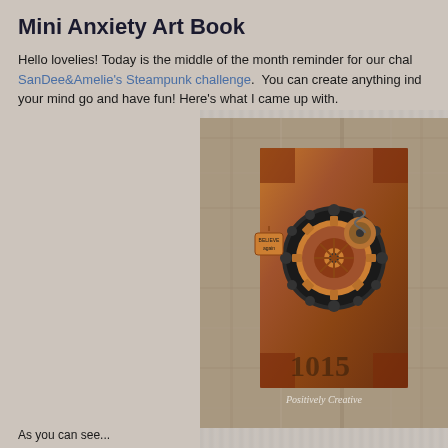Mini Anxiety Art Book
Hello lovelies! Today is the middle of the month reminder for our chal SanDee&Amelie's Steampunk challenge. You can create anything ind your mind go and have fun! Here's what I came up with.
[Figure (photo): A steampunk-style mini art book with copper gears and mechanical embellishments on a rust-orange aged leather cover, with the text 'Positively Creative' watermarked at the bottom. The book is propped against a weathered wooden background.]
As you can see...